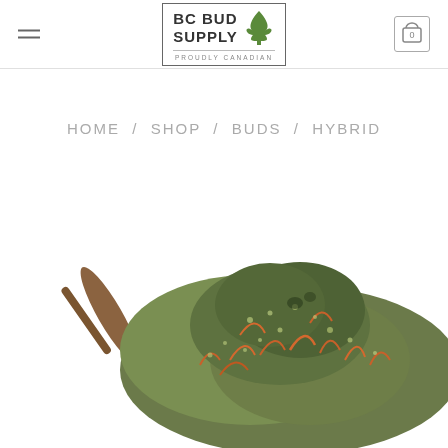BC BUD SUPPLY — PROUDLY CANADIAN
HOME / SHOP / BUDS / HYBRID
[Figure (photo): Close-up photo of a cannabis bud (hybrid strain) with green, orange, and brown trichome-covered flower on a white background]